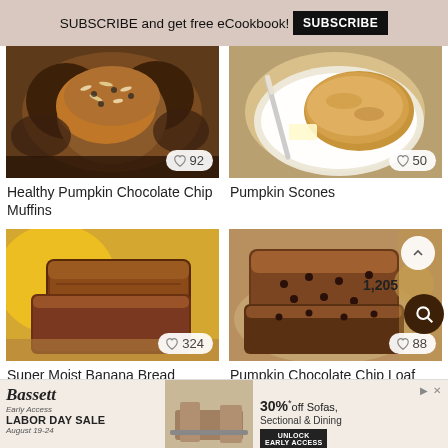SUBSCRIBE and get free eCookbook! SUBSCRIBE
[Figure (photo): Healthy pumpkin chocolate chip muffins in a muffin tin with oat topping, heart icon with 92 likes]
Healthy Pumpkin Chocolate Chip Muffins
[Figure (photo): Pumpkin scones on a white plate with butter and knife, heart icon with 50 likes]
Pumpkin Scones
[Figure (photo): Super moist banana bread sliced, heart icon with 324 likes]
Super Moist Banana Bread
[Figure (photo): Pumpkin chocolate chip loaf sliced, up arrow icon, 1,205 count, heart icon with 88 likes, search fab button]
Pumpkin Chocolate Chip Loaf
[Figure (photo): Bassett furniture advertisement - Early Access Labor Day Sale August 19-24, 30% off Sofas Sectional & Dining]